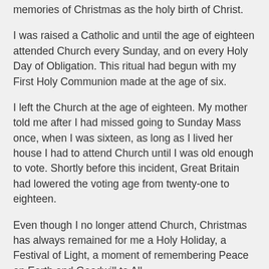memories of Christmas as the holy birth of Christ.
I was raised a Catholic and until the age of eighteen attended Church every Sunday, and on every Holy Day of Obligation. This ritual had begun with my First Holy Communion made at the age of six.
I left the Church at the age of eighteen. My mother told me after I had missed going to Sunday Mass once, when I was sixteen, as long as I lived her house I had to attend Church until I was old enough to vote. Shortly before this incident, Great Britain had lowered the voting age from twenty-one to eighteen.
Even though I no longer attend Church, Christmas has always remained for me a Holy Holiday, a Festival of Light, a moment of remembering Peace on Earth and Goodwill to All.
In my house it was first and foremost a sacred holiday. There were presents, and as a child I loved receiving and giving them. But from a young age I was aware of what I can only call The Mystery of God. So that even though I no longer believe in the God I was raised to worship I still believe in the Great Mystery